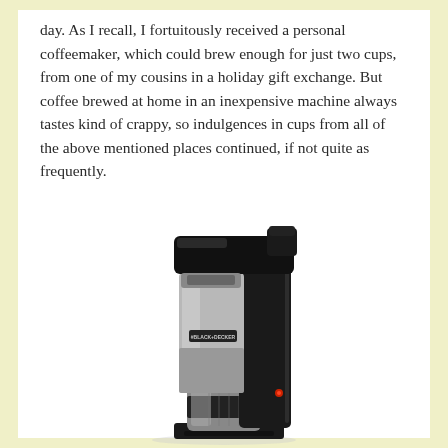day. As I recall, I fortuitously received a personal coffeemaker, which could brew enough for just two cups, from one of my cousins in a holiday gift exchange. But coffee brewed at home in an inexpensive machine always tastes kind of crappy, so indulgences in cups from all of the above mentioned places continued, if not quite as frequently.
[Figure (photo): A Black & Decker personal single-serve coffeemaker in black and stainless steel finish, with a travel mug/tumbler inserted at the base.]